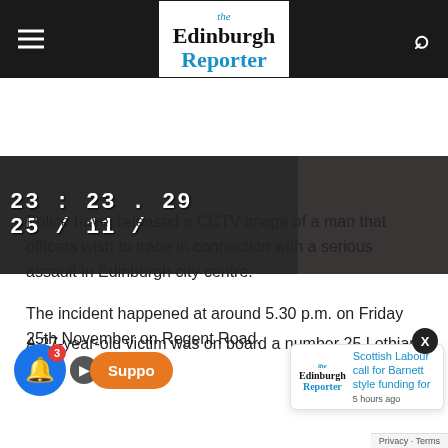the Edinburgh Reporter
[Figure (screenshot): CCTV still image showing timestamp 23:23.29 and date 25/11/ — dark surveillance footage]
Police have released a CCTV image of a man that officers wish to trace in connection with a serious assault in Edinburgh city centre.
The incident happened at around 5.30 p.m. on Friday 25th November on Regent Road.
[Figure (screenshot): Edinburgh Reporter related article popup: Scottish Labour call for Barnett style funding for — 5 hours ago]
A 27-year-old victim was on board a number 25 Lothian bus